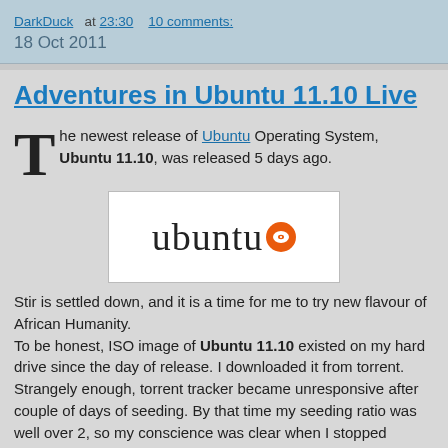DarkDuck  at  23:30    10 comments:
18 Oct 2011
Adventures in Ubuntu 11.10 Live
The newest release of Ubuntu Operating System, Ubuntu 11.10, was released 5 days ago.
[Figure (logo): Ubuntu logo: word 'ubuntu' in large serif font with orange circle containing eye icon]
Stir is settled down, and it is a time for me to try new flavour of African Humanity.
To be honest, ISO image of Ubuntu 11.10 existed on my hard drive since the day of release. I downloaded it from torrent. Strangely enough, torrent tracker became unresponsive after couple of days of seeding. By that time my seeding ratio was well over 2, so my conscience was clear when I stopped seeding. Image size of Ubuntu 11.10 is about 700 Mb, which means it could be burnt to CD. So I did. But I did not